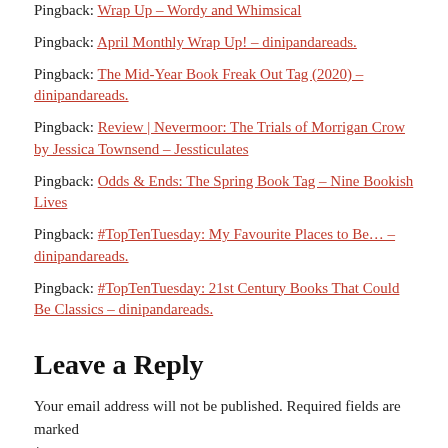Pingback: Great Bone, A Review and More: Jamie's April Wrap Up – Wordy and Whimsical
Pingback: April Monthly Wrap Up! – dinipandareads.
Pingback: The Mid-Year Book Freak Out Tag (2020) – dinipandareads.
Pingback: Review | Nevermoor: The Trials of Morrigan Crow by Jessica Townsend – Jessticulates
Pingback: Odds & Ends: The Spring Book Tag – Nine Bookish Lives
Pingback: #TopTenTuesday: My Favourite Places to Be… – dinipandareads.
Pingback: #TopTenTuesday: 21st Century Books That Could Be Classics – dinipandareads.
Leave a Reply
Your email address will not be published. Required fields are marked *